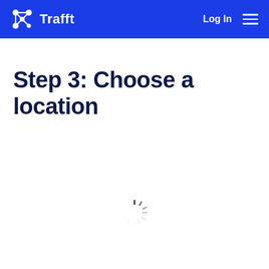Trafft — Log In
Step 3: Choose a location
[Figure (illustration): Loading spinner (circular dashed spinner icon indicating content is loading)]